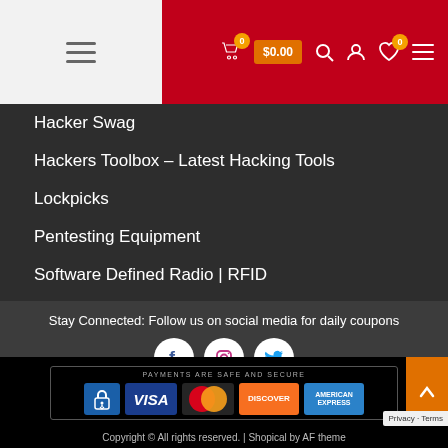Navigation header with cart $0.00, search, account, wishlist icons
Hacker Swag
Hackers Toolbox – Latest Hacking Tools
Lockpicks
Pentesting Equipment
Software Defined Radio | RFID
Wifi Keyloggers
Wifi Deauthers
Stay Connected: Follow us on social media for daily coupons
[Figure (infographic): Social media icons: Facebook, Instagram, Twitter in white circles]
[Figure (infographic): PAYMENTS ARE SAFE AND SECURE banner with lock icon, Visa, MasterCard, Discover, American Express logos]
Copyright © All rights reserved. | Shopical by AF theme